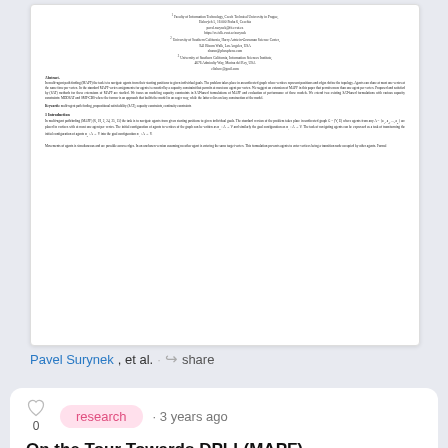[Figure (screenshot): Thumbnail of academic paper showing affiliations, abstract, keywords, introduction section text]
Pavel Surynek, et al. · share
research · 3 years ago
On the Tour Towards DPLL(MAPF) and Beyond